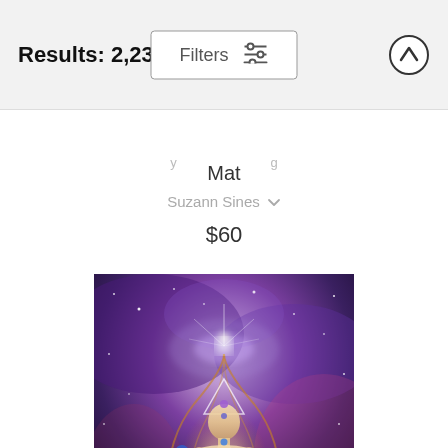Results: 2,236
Filters
Mat
Suzann Sines
$60
[Figure (illustration): Spiritual/cosmic illustration of a meditating human figure with chakra symbols, geometric triangles, galaxy and cosmic background with purple, blue, and golden hues, used as a yoga mat product image.]